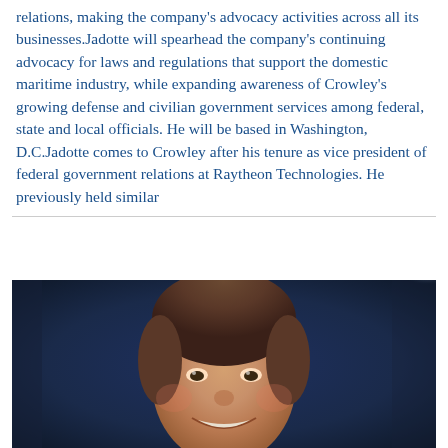relations, making the company's advocacy activities across all its businesses.Jadotte will spearhead the company's continuing advocacy for laws and regulations that support the domestic maritime industry, while expanding awareness of Crowley's growing defense and civilian government services among federal, state and local officials. He will be based in Washington, D.C.Jadotte comes to Crowley after his tenure as vice president of federal government relations at Raytheon Technologies. He previously held similar
[Figure (photo): Close-up portrait photo of a smiling middle-aged man with short brown hair, photographed against a dark blue background with a bright light source visible in the upper right corner.]